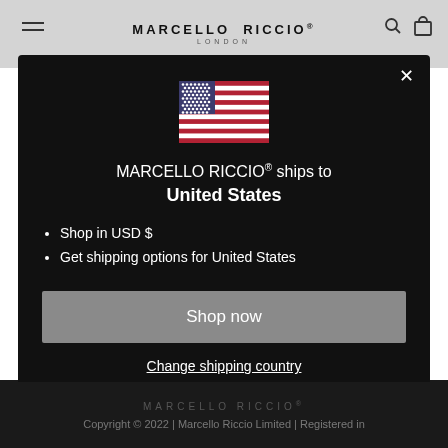MARCELLO RICCIO® LONDON
[Figure (screenshot): Modal popup dialog on Marcello Riccio website showing US flag, shipping information, and shop now button]
MARCELLO RICCIO® ships to United States
Shop in USD $
Get shipping options for United States
Shop now
Change shipping country
MARCELLO RICCIO® Copyright © 2022 | Marcello Riccio Limited | Registered in